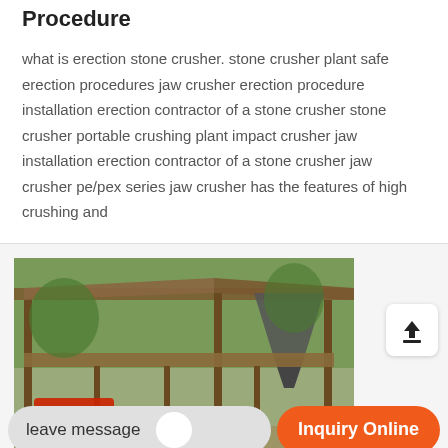Procedure
what is erection stone crusher. stone crusher plant safe erection procedures jaw crusher erection procedure installation erection contractor of a stone crusher stone crusher portable crushing plant impact crusher jaw installation erection contractor of a stone crusher jaw crusher pe/pex series jaw crusher has the features of high crushing and
[Figure (photo): Photograph of a stone crusher plant installation showing metal frame structure, conveyor and mechanical equipment components outdoors]
leave message
Inquiry Online